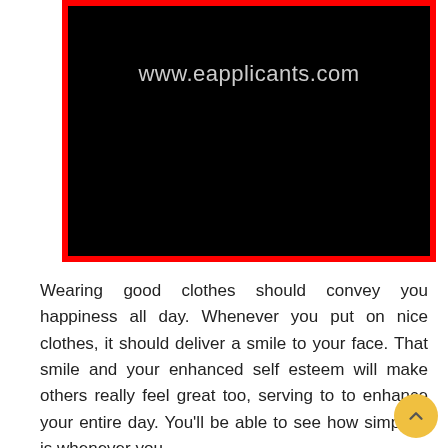[Figure (screenshot): Black rectangle with red border displaying the website URL 'www.eapplicants.com' in light gray text centered near the top]
Wearing good clothes should convey you happiness all day. Whenever you put on nice clothes, it should deliver a smile to your face. That smile and your enhanced self esteem will make others really feel great too, serving to to enhance your entire day. You'll be able to see how simple it is whenever you